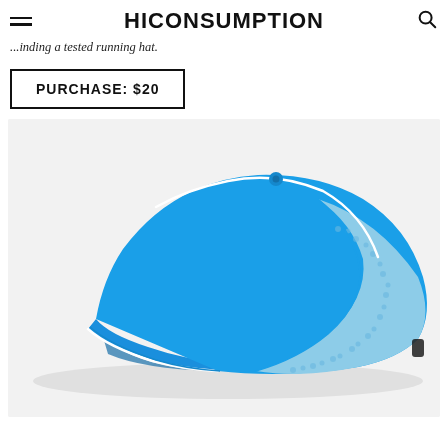HICONSUMPTION
...inding a tested running hat.
PURCHASE: $20
[Figure (photo): A blue athletic running cap with mesh side panel and white piping trim, photographed on a white/light gray background.]